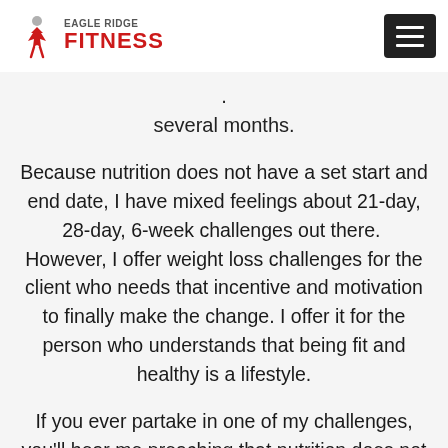EAGLE RIDGE FITNESS
several months.
Because nutrition does not have a set start and end date, I have mixed feelings about 21-day, 28-day, 6-week challenges out there.  However, I offer weight loss challenges for the client who needs that incentive and motivation to finally make the change. I offer it for the person who understands that being fit and healthy is a lifestyle.
If you ever partake in one of my challenges, you'll hear me preaching that nutrition does not have a start and end date. For new clients, there's always an interview